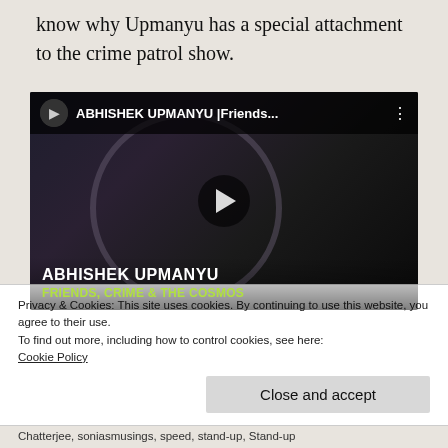know why Upmanyu has a special attachment to the crime patrol show.
[Figure (screenshot): YouTube video thumbnail showing Abhishek Upmanyu - Friends, Crime & The Cosmos. A man in a dark shirt holds a microphone. Top bar shows 'ABHISHEK UPMANYU |Friends...' with a play button overlay.]
Privacy & Cookies: This site uses cookies. By continuing to use this website, you agree to their use.
To find out more, including how to control cookies, see here:
Cookie Policy
Close and accept
Chatterjee, soniasmusings, speed, stand-up, Stand-up